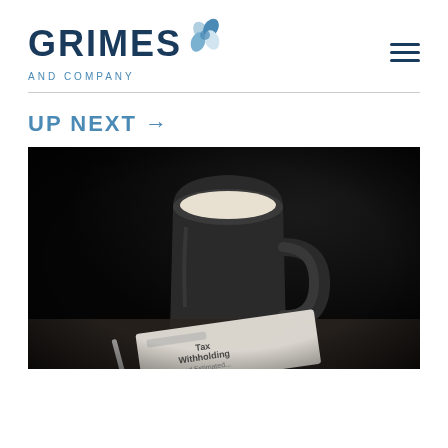[Figure (logo): Grimes and Company logo with pinwheel icon and hamburger menu icon]
UP NEXT →
[Figure (photo): Dark moody photo of a black coffee mug on a table with a blurred tax withholding document and pen in the foreground]